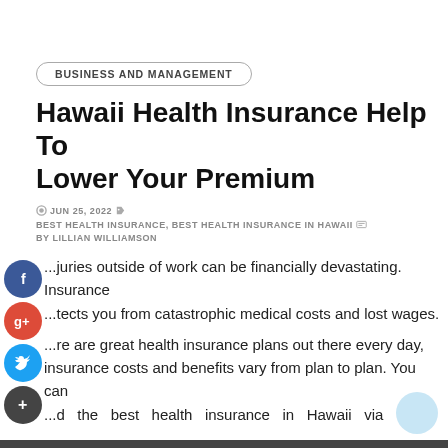BUSINESS AND MANAGEMENT
Hawaii Health Insurance Help To Lower Your Premium
JUN 25, 2022  BEST HEALTH INSURANCE, BEST HEALTH INSURANCE IN HAWAII  BY LILLIAN WILLIAMSON
...juries outside of work can be financially devastating. Insurance ...tects you from catastrophic medical costs and lost wages.
...re are great health insurance plans out there every day, insurance costs and benefits vary from plan to plan. You can ...d the best health insurance in Hawaii via https://www.uhahealth.com/welcome-to-uha.
[Figure (photo): Bottom strip showing a partial image]